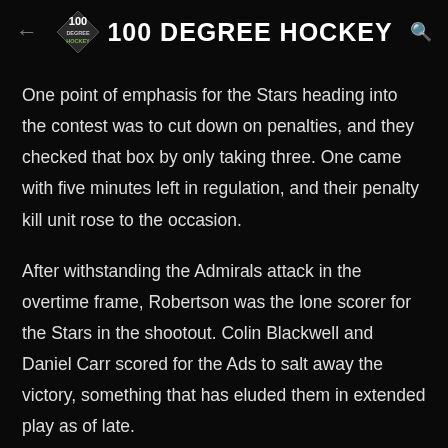100 DEGREE HOCKEY
One point of emphasis for the Stars heading into the contest was to cut down on penalties, and they checked that box by only taking three. One came with five minutes left in regulation, and their penalty kill unit rose to the occasion.
After withstanding the Admirals attack in the overtime frame, Robertson was the lone scorer for the Stars in the shootout. Colin Blackwell and Daniel Carr scored for the Ads to salt away the victory, something that has eluded them in extended play as of late.